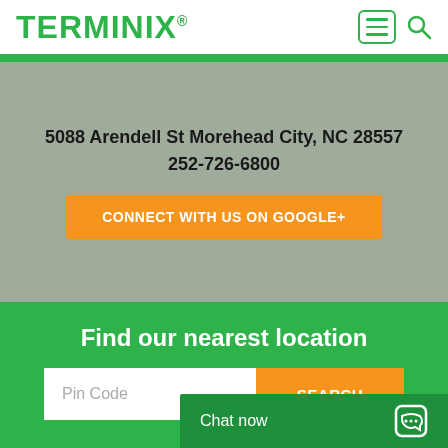[Figure (logo): Terminix logo in green bold text with registered trademark symbol]
5088 Arendell St Morehead City, NC 28557
252-726-6800
CONNECT WITH US ON GOOGLE+
Find our nearest location
Pin Code
SEARCH
Chat now